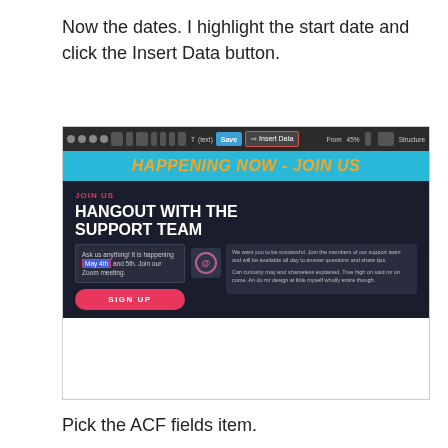Now the dates. I highlight the start date and click the Insert Data button.
[Figure (screenshot): Screenshot of a webpage editor showing a toolbar with an 'Insert Data' button highlighted in red, and a dark-themed event page for 'HAPPENING NOW - JOIN US' with 'HANGOUT WITH THE SUPPORT TEAM' heading, a highlighted date 'May 4th', a SIGN UP button, and supporting text.]
Pick the ACF fields item.